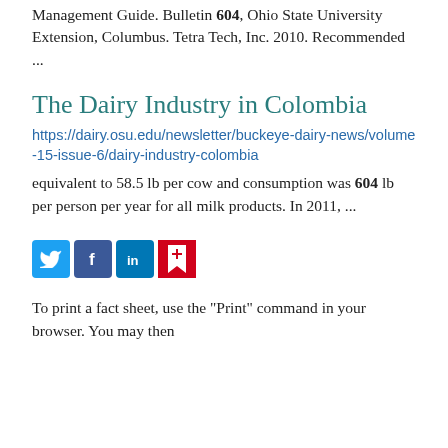Management Guide. Bulletin 604, Ohio State University Extension, Columbus. Tetra Tech, Inc. 2010. Recommended ...
The Dairy Industry in Colombia
https://dairy.osu.edu/newsletter/buckeye-dairy-news/volume-15-issue-6/dairy-industry-colombia
equivalent to 58.5 lb per cow and consumption was 604 lb per person per year for all milk products. In 2011, ...
[Figure (infographic): Social media sharing icons: Twitter (blue bird), Facebook (blue f), LinkedIn (blue in), and a red share/bookmark icon]
To print a fact sheet, use the "Print" command in your browser. You may then